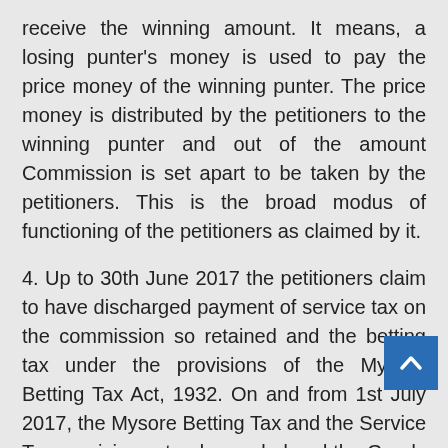receive the winning amount. It means, a losing punter's money is used to pay the price money of the winning punter. The price money is distributed by the petitioners to the winning punter and out of the amount Commission is set apart to be taken by the petitioners. This is the broad modus of functioning of the petitioners as claimed by it.
4. Up to 30th June 2017 the petitioners claim to have discharged payment of service tax on the commission so retained and the betting tax under the provisions of the Mysore Betting Tax Act, 1932. On and from 1st July 2017, the Mysore Betting Tax and the Service Tax provisions stood repealed and the Goods and Services Tax laws were brought into force.
5. From the appointed day i.e., 01-07-2017, a combination of these taxes; Central Goods and Services Tax ('CGST' for short), Integrated Goods and